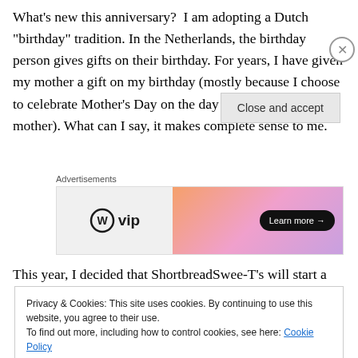What’s new this anniversary?  I am adopting a Dutch “birthday” tradition. In the Netherlands, the birthday person gives gifts on their birthday. For years, I have given my mother a gift on my birthday (mostly because I choose to celebrate Mother’s Day on the day she became my mother). What can I say, it makes complete sense to me.
[Figure (other): WordPress VIP advertisement banner with gradient orange-pink-purple background and 'Learn more →' button]
This year, I decided that ShortbreadSwee-T’s will start a
Privacy & Cookies: This site uses cookies. By continuing to use this website, you agree to their use.
To find out more, including how to control cookies, see here: Cookie Policy
Close and accept